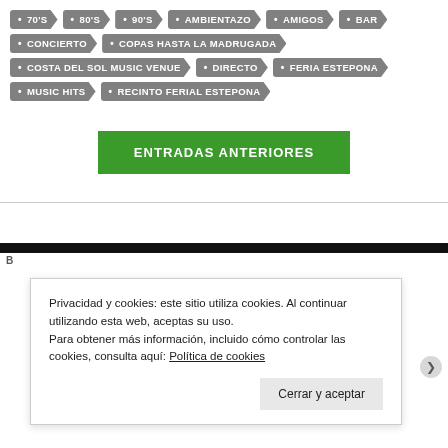70'S
80'S
90'S
AMBIENTAZO
AMIGOS
BAR
CONCIERTO
COPAS HASTA LA MADRUGADA
COSTA DEL SOL MUSIC VENUE
DIRECTO
FERIA ESTEPONA
MUSIC HITS
RECINTO FERIAL ESTEPONA
ENTRADAS ANTERIORES
Privacidad y cookies: este sitio utiliza cookies. Al continuar utilizando esta web, aceptas su uso.
Para obtener más información, incluido cómo controlar las cookies, consulta aquí: Política de cookies
Cerrar y aceptar